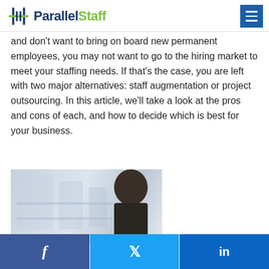ParallelStaff
and don't want to bring on board new permanent employees, you may not want to go to the hiring market to meet your staffing needs. If that's the case, you are left with two major alternatives: staff augmentation or project outsourcing. In this article, we'll take a look at the pros and cons of each, and how to decide which is best for your business.
[Figure (photo): Person sitting at a desk in an office environment, blurred background with office furniture and shelving.]
Facebook | Twitter | LinkedIn social share buttons